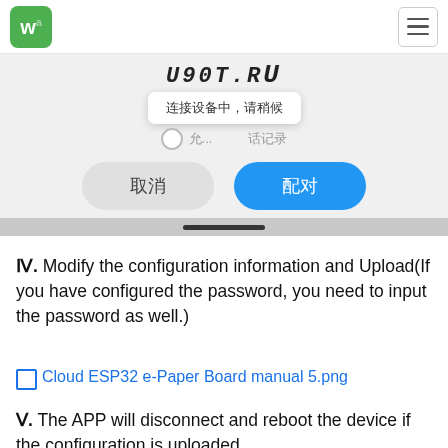WA [logo] [hamburger menu]
[Figure (screenshot): Mobile app screenshot showing a Bluetooth pairing dialog with Chinese text. Shows device name partially visible, a tooltip bubble saying '连接设备中，请稍候' (Connecting device, please wait), a permission row with radio button, and two buttons: '取消' (Cancel) and '配对' (Pair, in blue). Below is a gray progress/swipe bar area.]
Ⅳ. Modify the configuration information and Upload(If you have configured the password, you need to input the password as well.)
[Figure (screenshot): Broken image link placeholder labeled 'Cloud ESP32 e-Paper Board manual 5.png' shown as a blue hyperlink with a small image icon]
Ⅴ. The APP will disconnect and reboot the device if the configuration is uploaded